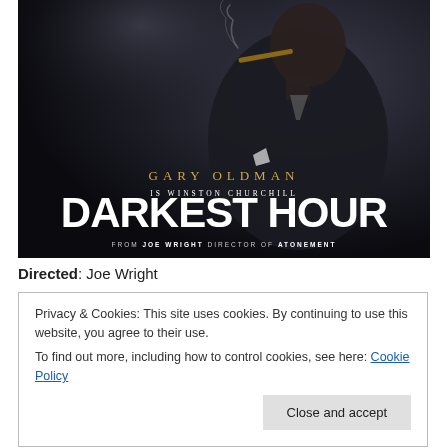[Figure (photo): Movie poster for 'Darkest Hour' featuring Gary Oldman as Winston Churchill, shown in profile smoking a cigar, wearing a dark suit. Gold text reads 'GARY OLDMAN IS WINSTON CHURCHILL', large white bold text reads 'DARKEST HOUR', smaller text reads 'FROM JOE WRIGHT DIRECTOR OF ATONEMENT'.]
Directed: Joe Wright
Privacy & Cookies: This site uses cookies. By continuing to use this website, you agree to their use.
To find out more, including how to control cookies, see here: Cookie Policy
Close and accept